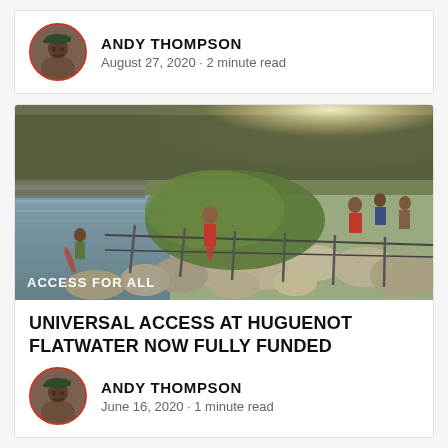[Figure (photo): Circular avatar photo of Andy Thompson wearing a cap]
ANDY THOMPSON
August 27, 2020 · 2 minute read
[Figure (photo): Outdoor riverside scene with people carrying kayaks over large rocks, trees and a bridge in background. Text overlay: ACCESS FOR ALL]
UNIVERSAL ACCESS AT HUGUENOT FLATWATER NOW FULLY FUNDED
[Figure (photo): Circular avatar photo of Andy Thompson wearing a cap]
ANDY THOMPSON
June 16, 2020 · 1 minute read